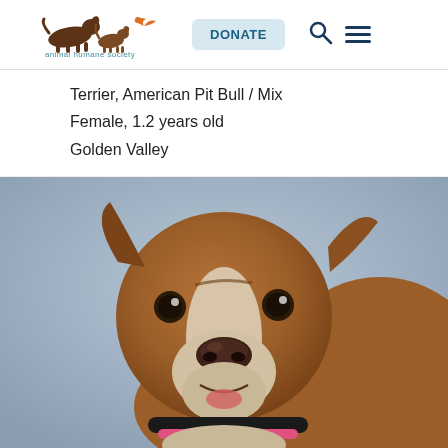[Figure (logo): Animal Humane Society logo with silhouettes of animals running and text 'animal humane society']
Terrier, American Pit Bull / Mix
Female, 1.2 years old
Golden Valley
[Figure (photo): Close-up portrait of a brown and white American Pit Bull Terrier mix dog looking upward with a pink and black collar, photographed against a gray-blue background.]